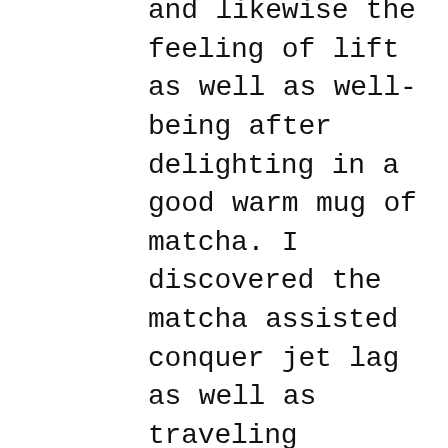and likewise the feeling of lift as well as well-being after delighting in a good warm mug of matcha. I discovered the matcha assisted conquer jet lag as well as traveling tiredness. That's why I'm an advocate for matcha environment-friendly tea. It assists restore energy when traveling, supplies mental clearness and also a natural lift with the appropriate mix of l-theanine and light caffeine. The powdered whole fallen leave matcha has 10 times the anti-oxidants and also catechins, understood for building health and wellness and also avoiding conditions, than